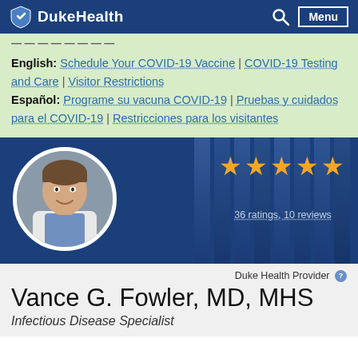DukeHealth — Menu
English: Schedule Your COVID-19 Vaccine | COVID-19 Testing and Care | Visitor Restrictions
Español: Programe su vacuna COVID-19 | Pruebas y cuidados para el COVID-19 | Restricciones para los visitantes
[Figure (photo): Circular headshot photo of Dr. Vance G. Fowler, MD, MHS — a man in a white coat and blue shirt, smiling, against a neutral background. Five gold stars rating. Text: 36 ratings, 10 reviews.]
Duke Health Provider
Vance G. Fowler, MD, MHS
Infectious Disease Specialist